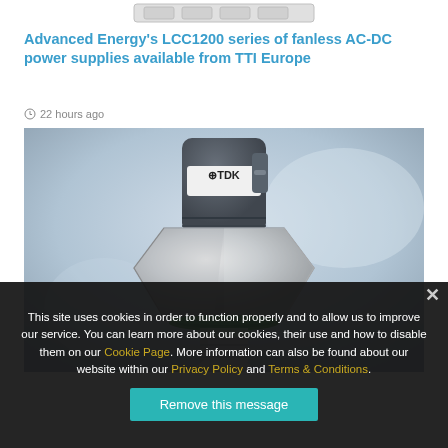Advanced Energy's LCC1200 series of fanless AC-DC power supplies available from TTI Europe
22 hours ago
[Figure (photo): Photo of a TDK pressure sensor / transducer component with metallic housing, green O-ring seal, threaded fitting at bottom, and a dark gray cylindrical connector plug on top with TDK logo label. Background is blurred light blue/gray.]
This site uses cookies in order to function properly and to allow us to improve our service. You can learn more about our cookies, their use and how to disable them on our Cookie Page. More information can also be found about our website within our Privacy Policy and Terms & Conditions.
Remove this message